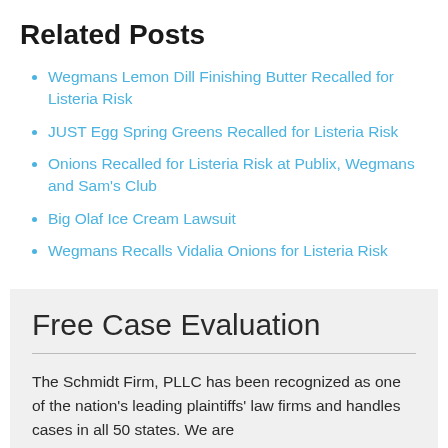Related Posts
Wegmans Lemon Dill Finishing Butter Recalled for Listeria Risk
JUST Egg Spring Greens Recalled for Listeria Risk
Onions Recalled for Listeria Risk at Publix, Wegmans and Sam's Club
Big Olaf Ice Cream Lawsuit
Wegmans Recalls Vidalia Onions for Listeria Risk
Free Case Evaluation
The Schmidt Firm, PLLC has been recognized as one of the nation's leading plaintiffs' law firms and handles cases in all 50 states. We are